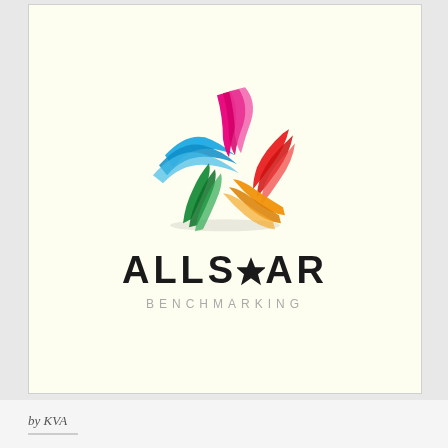[Figure (logo): Allstar Benchmarking logo: a colorful star made of curved sweeping ribbon shapes in pink/magenta, red, orange, green, and blue, arranged in a pinwheel pattern. Below the star graphic, the text 'ALLSTAR' in large bold uppercase letters with a star icon replacing the letter T, and 'BENCHMARKING' in small spaced uppercase letters in gray.]
by KVA